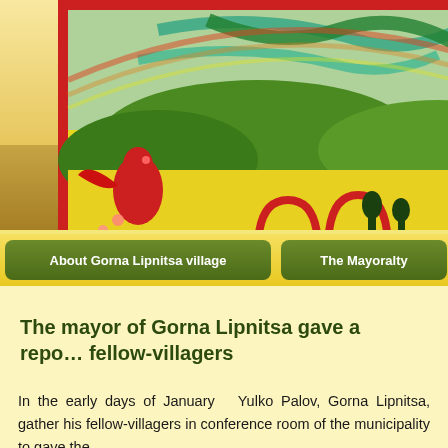[Figure (illustration): Website header image: sepia-toned panoramic photo of Gorna Lipnitsa village with trees and buildings in the background, overlaid with a colorful folk art painting/collage in the upper left showing vibrant landscape with red arches, green trees, red bird, and colorful scenery on a yellow background with a blue base.]
About Gorna Lipnitsa village | The Mayoralty | The Associa…
The mayor of Gorna Lipnitsa gave a repo… fellow-villagers
In the early days of January  Yulko Palov, Gorna Lipnitsa, gather his fellow-villagers in conference room of the municipality to gave the…